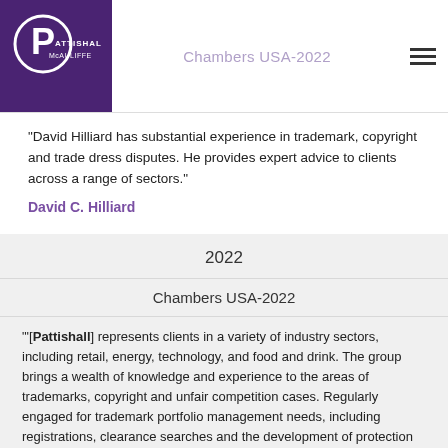Chambers USA-2022
“David Hilliard has substantial experience in trademark, copyright and trade dress disputes. He provides expert advice to clients across a range of sectors.”
David C. Hilliard
2022
Chambers USA-2022
“’[Pattishall] represents clients in a variety of industry sectors, including retail, energy, technology, and food and drink. The group brings a wealth of knowledge and experience to the areas of trademarks, copyright and unfair competition cases. Regularly engaged for trademark portfolio management needs, including registrations, clearance searches and the development of protection strategies.’ Clients find the team to be ‘very highly